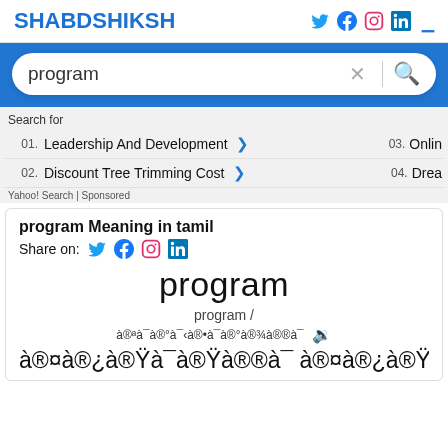SHABDSHIKSHA
[Figure (screenshot): Search bar with text 'program' and blue background]
Search for
01. Leadership And Development
02. Discount Tree Trimming Cost
03. Online
04. Dream
Yahoo! Search | Sponsored
program Meaning in tamil
Share on:
program
program /
à®ªà¯à®°à¯‹à®•à¯à®°à®¾à®®à¯
à®¤à®¿à®Ÿà¯à®Ÿà®®à¯